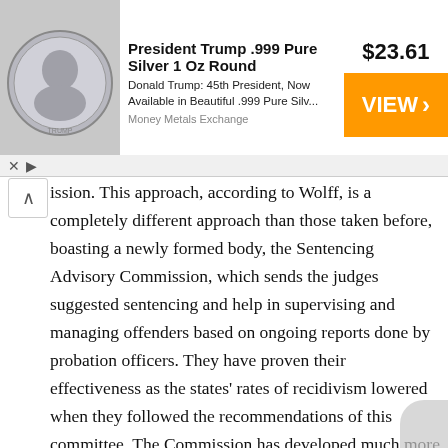[Figure (other): Advertisement banner for President Trump .999 Pure Silver 1 Oz Round coin from Money Metals Exchange, priced at $23.61 with an orange VIEW button]
ission. This approach, according to Wolff, is a completely different approach than those taken before, boasting a newly formed body, the Sentencing Advisory Commission, which sends the judges suggested sentencing and help in supervising and managing offenders based on ongoing reports done by probation officers. They have proven their effectiveness as the states' rates of recidivism lowered when they followed the recommendations of this committee. The Commission has developed much more effective supervision strategies that focus on community as well as community-based programs for offenders who are found to be less of a threat.
The second barrel is the Missouri reentry process, a new program which helps the inmates complete a successful re-assimilation into life outside of prison. It provides help to cross over the huge gaps dividing most convicts from a successful transition, such as lack of education,